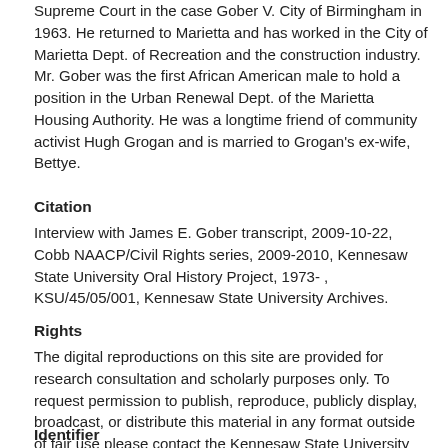Supreme Court in the case Gober V. City of Birmingham in 1963. He returned to Marietta and has worked in the City of Marietta Dept. of Recreation and the construction industry. Mr. Gober was the first African American male to hold a position in the Urban Renewal Dept. of the Marietta Housing Authority. He was a longtime friend of community activist Hugh Grogan and is married to Grogan's ex-wife, Bettye.
Citation
Interview with James E. Gober transcript, 2009-10-22, Cobb NAACP/Civil Rights series, 2009-2010, Kennesaw State University Oral History Project, 1973- , KSU/45/05/001, Kennesaw State University Archives.
Rights
The digital reproductions on this site are provided for research consultation and scholarly purposes only. To request permission to publish, reproduce, publicly display, broadcast, or distribute this material in any format outside of fair use please contact the Kennesaw State University Archives.
Identifier